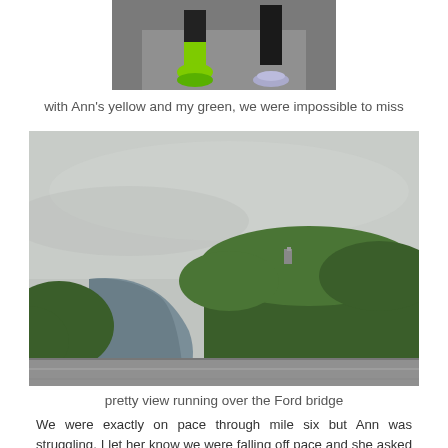[Figure (photo): Close-up photo of two runners' legs and feet on a bridge or path, one wearing bright green/yellow compression socks and green shoes, the other wearing dark pants and gray shoes.]
with Ann's yellow and my green, we were impossible to miss
[Figure (photo): Outdoor landscape photo taken from a bridge over the Ford bridge, showing a river winding through green trees under a gray overcast sky.]
pretty view running over the Ford bridge
We were exactly on pace through mile six but Ann was struggling. I let her know we were falling off pace and she asked me not to talk to her about pace any more. Right or